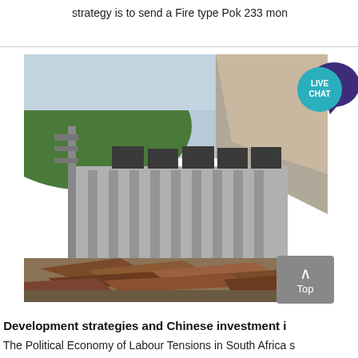strategy is to send a Fire type Pok 233 mon
[Figure (photo): Construction site photo showing a large concrete industrial building under construction, with scaffolding and equipment visible on the roof, set against a hillside with green trees on the left and a rocky slope on the right. Foreground shows scattered rusty metal debris and scrap materials.]
Development strategies and Chinese investment i
The Political Economy of Labour Tensions in South Africa s